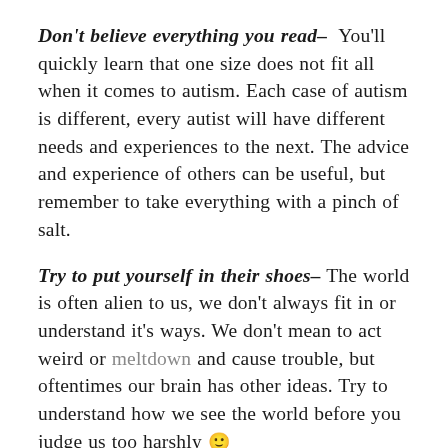Don't believe everything you read– You'll quickly learn that one size does not fit all when it comes to autism. Each case of autism is different, every autist will have different needs and experiences to the next. The advice and experience of others can be useful, but remember to take everything with a pinch of salt.
Try to put yourself in their shoes– The world is often alien to us, we don't always fit in or understand it's ways. We don't mean to act weird or meltdown and cause trouble, but oftentimes our brain has other ideas. Try to understand how we see the world before you judge us too harshly 🙂
Know their limits, but don't limit them– This can be a challenging balance to strike. As I have discussed previously, we should endeavour to understand